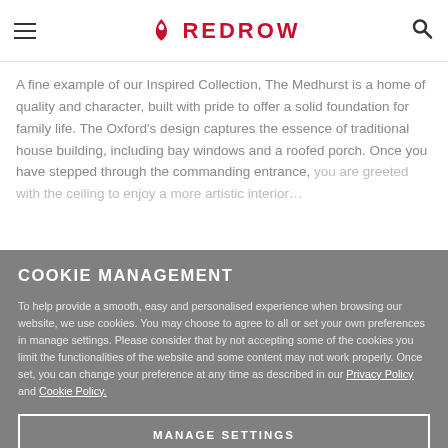REDROW
A fine example of our Inspired Collection, The Medhurst is a home of quality and character, built with pride to offer a solid foundation for family life. The Oxford's design captures the essence of traditional house building, including bay windows and a roofed porch. Once you have stepped through the commanding entrance,
COOKIE MANAGEMENT
To help provide a smooth, easy and personalised experience when browsing our website, we use cookies. You may choose to agree to all or set your own preferences in manage settings. Please consider that by not accepting some of the cookies you limit the functionalities of the website and some content may not work properly. Once set, you can change your preference at any time as described in our Privacy Policy and Cookie Policy.
MANAGE SETTINGS
ACCEPT ALL COOKIES